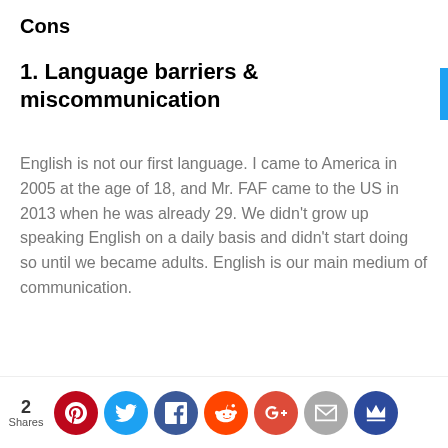Cons
1. Language barriers & miscommunication
English is not our first language. I came to America in 2005 at the age of 18, and Mr. FAF came to the US in 2013 when he was already 29. We didn't grow up speaking English on a daily basis and didn't start doing so until we became adults. English is our main medium of communication.
[Figure (infographic): Social share bar with 2 Shares count and icons for Pinterest (2), Twitter, Facebook, Reddit, Google+, Email, and a crown/bookmark icon]